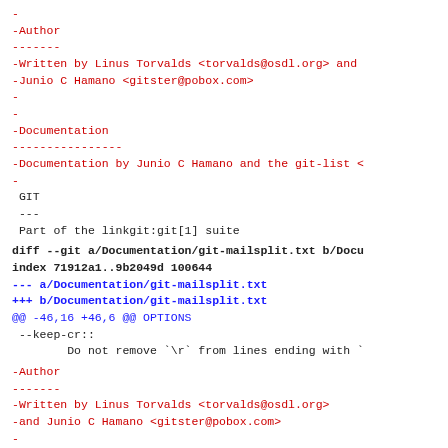- -Author ------- -Written by Linus Torvalds <torvalds@osdl.org> and -Junio C Hamano <gitster@pobox.com> - - -Documentation ---------------- -Documentation by Junio C Hamano and the git-list < - GIT --- Part of the linkgit:git[1] suite
diff --git a/Documentation/git-mailsplit.txt b/Documentation/git-mailsplit.txt index 71912a1..9b2049d 100644 --- a/Documentation/git-mailsplit.txt +++ b/Documentation/git-mailsplit.txt @@ -46,16 +46,6 @@ OPTIONS --keep-cr::         Do not remove `\r` from lines ending with `
-Author ------- -Written by Linus Torvalds <torvalds@osdl.org> -and Junio C Hamano <gitster@pobox.com> - - -Documentation